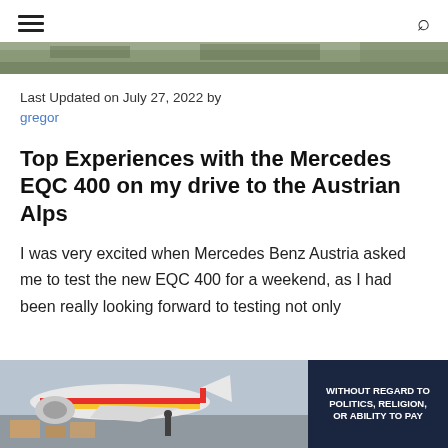≡   🔍
[Figure (photo): Top portion of a scenic landscape photo, showing road and greenery, cropped at the top of the article]
Last Updated on July 27, 2022 by gregor
Top Experiences with the Mercedes EQC 400 on my drive to the Austrian Alps
I was very excited when Mercedes Benz Austria asked me to test the new EQC 400 for a weekend, as I had been really looking forward to testing not only
[Figure (photo): Advertisement banner showing an airplane being loaded with cargo (Southwest Airlines livery), with text 'WITHOUT REGARD TO POLITICS, RELIGION, OR ABILITY TO PAY' on dark blue background]